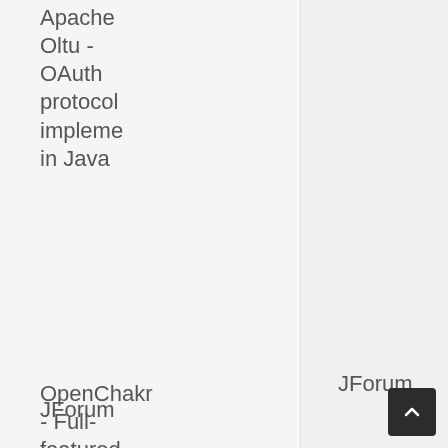Apache Oltu - OAuth protocol implementation in Java
OpenChakra - Full-featured visual editor and code generator for React using Chakra UI
JForum